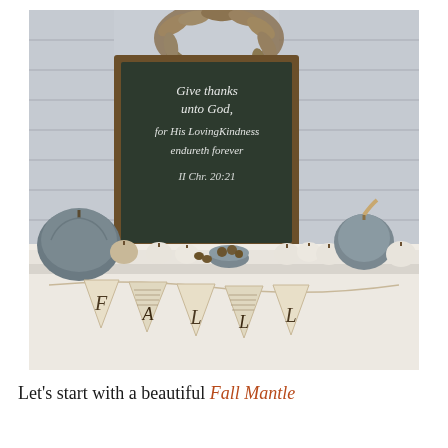[Figure (photo): A fall mantle decoration featuring a chalkboard sign reading 'Give thanks unto God, for His LovingKindness endureth forever II Chr. 20:21', surrounded by blue-grey and white pumpkins, a dried leaf wreath, a small bowl of acorns, and a pennant banner hanging below the mantle.]
Let's start with a beautiful Fall Mantle